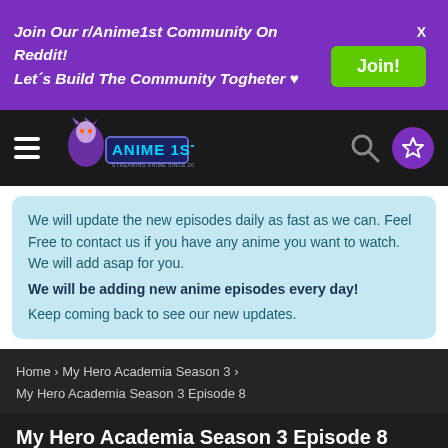Join Our r/Anime1st Community On Reddit!
Let's Build The Community Togheter ♥
Join!
[Figure (logo): Anime 1st logo with anime character]
We will update the new episodes daily as fast as we can. Feel Free to contact us if you have any anime you want to watch. We will add asap for you. We will be adding new anime episodes every day! Keep coming back to see our new updates.
Home › My Hero Academia Season 3 › My Hero Academia Season 3 Episode 8
My Hero Academia Season 3 Episode 8
Released on July 12, 2021 · 467 · posted by bot anime · series